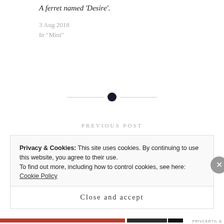A ferret named 'Desire'.
3 Aug 2018
In "Mini"
[Figure (other): Horizontal divider with a dark filled circle in the center, flanked by thin gray lines]
PREVIOUS POST
A TRULY HORRIBLE DAY
Privacy & Cookies: This site uses cookies. By continuing to use this website, you agree to their use.
To find out more, including how to control cookies, see here: Cookie Policy
Close and accept